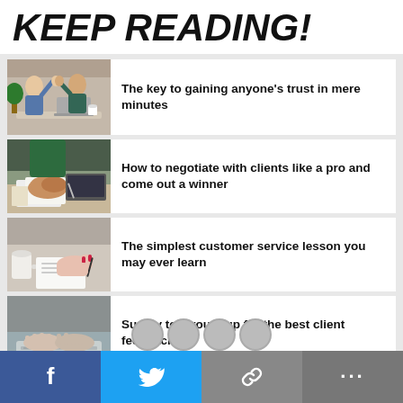KEEP READING!
[Figure (photo): Two business people high-fiving over a desk with a laptop]
The key to gaining anyone's trust in mere minutes
[Figure (photo): Person with hands clasped on a desk with papers]
How to negotiate with clients like a pro and come out a winner
[Figure (photo): Hands writing or pointing at documents on a desk]
The simplest customer service lesson you may ever learn
[Figure (photo): Hands typing on a laptop keyboard]
Survey tool roundup for the best client feedback